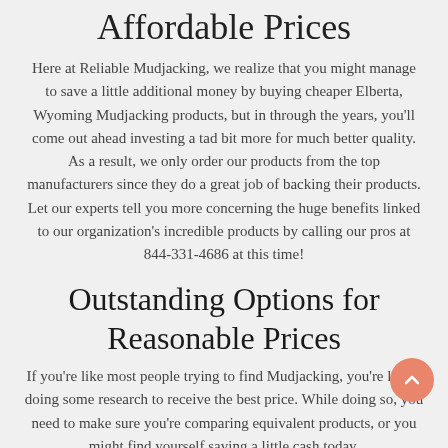Affordable Prices
Here at Reliable Mudjacking, we realize that you might manage to save a little additional money by buying cheaper Elberta, Wyoming Mudjacking products, but in through the years, you'll come out ahead investing a tad bit more for much better quality. As a result, we only order our products from the top manufacturers since they do a great job of backing their products. Let our experts tell you more concerning the huge benefits linked to our organization's incredible products by calling our pros at 844-331-4686 at this time!
Outstanding Options for Reasonable Prices
If you're like most people trying to find Mudjacking, you're likely doing some research to receive the best price. While doing so, you need to make sure you're comparing equivalent products, or you might find yourself saving a little cash today,